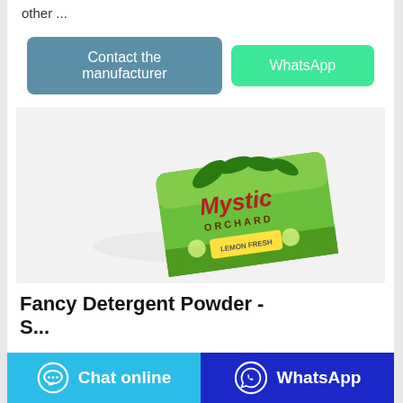other ...
Contact the manufacturer | WhatsApp
[Figure (photo): Green Mystic Orchard detergent/soap bar package on a light grey background]
Fancy Detergent Powder - ...
Chat online | WhatsApp